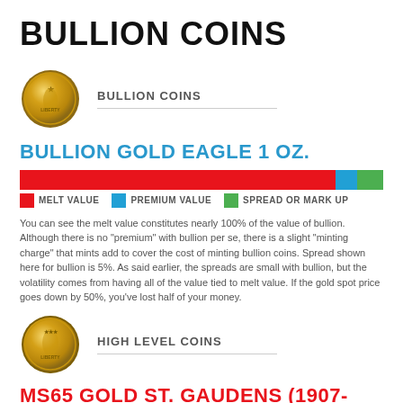BULLION COINS
[Figure (illustration): Gold coin with Lady Liberty design]
BULLION COINS
BULLION GOLD EAGLE 1 OZ.
[Figure (bar-chart): Bullion Gold Eagle 1 oz. value breakdown]
You can see the melt value constitutes nearly 100% of the value of bullion.  Although there is no "premium" with bullion per se, there is a slight "minting charge" that mints add to cover the cost of minting bullion coins. Spread shown here for bullion is 5%. As said earlier, the spreads are small with bullion, but the volatility comes from having all of the value tied to melt value.  If the gold spot price goes down by 50%, you've lost half of your money.
[Figure (illustration): Gold coin with St. Gaudens design]
HIGH LEVEL COINS
MS65 GOLD ST. GAUDENS (1907-1932)